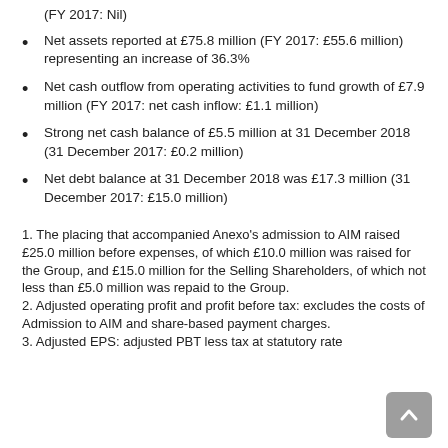(FY 2017: Nil)
Net assets reported at £75.8 million (FY 2017: £55.6 million) representing an increase of 36.3%
Net cash outflow from operating activities to fund growth of £7.9 million (FY 2017: net cash inflow: £1.1 million)
Strong net cash balance of £5.5 million at 31 December 2018 (31 December 2017: £0.2 million)
Net debt balance at 31 December 2018 was £17.3 million (31 December 2017: £15.0 million)
1. The placing that accompanied Anexo's admission to AIM raised £25.0 million before expenses, of which £10.0 million was raised for the Group, and £15.0 million for the Selling Shareholders, of which not less than £5.0 million was repaid to the Group.
2. Adjusted operating profit and profit before tax: excludes the costs of Admission to AIM and share-based payment charges.
3. Adjusted EPS: adjusted PBT less tax at statutory rate